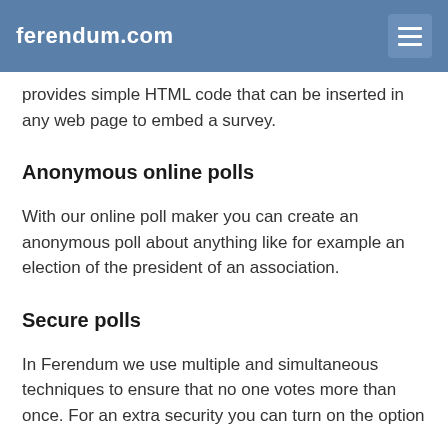ferendum.com
provides simple HTML code that can be inserted in any web page to embed a survey.
Anonymous online polls
With our online poll maker you can create an anonymous poll about anything like for example an election of the president of an association.
Secure polls
In Ferendum we use multiple and simultaneous techniques to ensure that no one votes more than once. For an extra security you can turn on the option